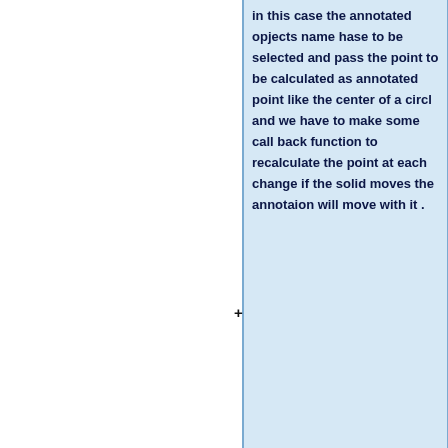in this case the annotated opjects name hase to be selected and pass the point to be calculated as annotated point like the center of a circl and we have to make some call back function to recalculate the point at each change if the solid moves the annotaion will move with it .
==="""Milestones"""===
*Fixing the wrong depiction with OpenGl in windows.
*Extending the MGED and Archer commands to inculde the new